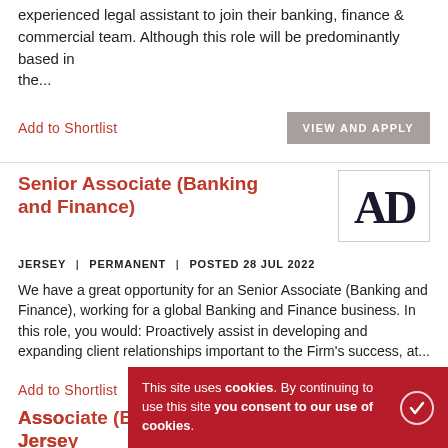experienced legal assistant to join their banking, finance & commercial team. Although this role will be predominantly based in the...
Add to Shortlist
VIEW AND APPLY
Senior Associate (Banking and Finance)
[Figure (logo): AD company logo in black serif font on white background with border]
JERSEY | PERMANENT | POSTED 28 JUL 2022
We have a great opportunity for an Senior Associate (Banking and Finance), working for a global Banking and Finance business. In this role, you would: Proactively assist in developing and expanding client relationships important to the Firm's success, at...
Add to Shortlist
VIEW AND APPLY
This site uses cookies. By continuing to use this site you consent to our use of cookies.
Associate (Banking and Finance - Jersey